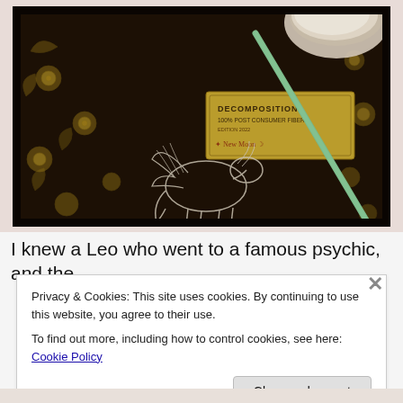[Figure (photo): Overhead photo of a decorative dark floral mat/tablecloth featuring a Pegasus (winged horse) design, with a small green pencil/stylus with a pink eraser tip, a product card reading 'DECOMPOSITION 100% POST CONSUMER FIBER New Moon' and the bottom of a coffee cup or drink visible at the top right.]
I knew a Leo who went to a famous psychic, and the
Privacy & Cookies: This site uses cookies. By continuing to use this website, you agree to their use.
To find out more, including how to control cookies, see here: Cookie Policy